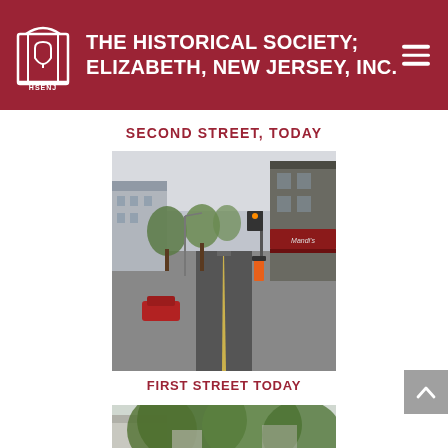THE HISTORICAL SOCIETY; ELIZABETH, NEW JERSEY, INC.
SECOND STREET, TODAY
[Figure (photo): Street-level photograph of First Street in Elizabeth, New Jersey, today. Shows a two-lane road with yellow center line, commercial buildings including a business with a red awning on the right, trees lining the street, traffic signal poles, and parked cars.]
FIRST STREET TODAY
[Figure (photo): Partial photograph at bottom of page showing a tree-lined street with buildings visible behind leafy trees.]